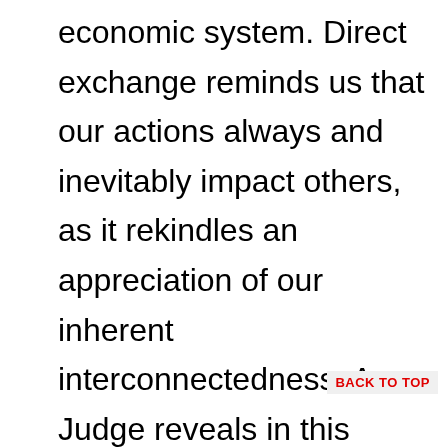economic system. Direct exchange reminds us that our actions always and inevitably impact others, as it rekindles an appreciation of our inherent interconnectedness. As Judge reveals in this much-needed book, direct exchange is both the cornerstone of the solution and a tool for revealing just how much is at stake in decisions about “through
BACK TO TOP